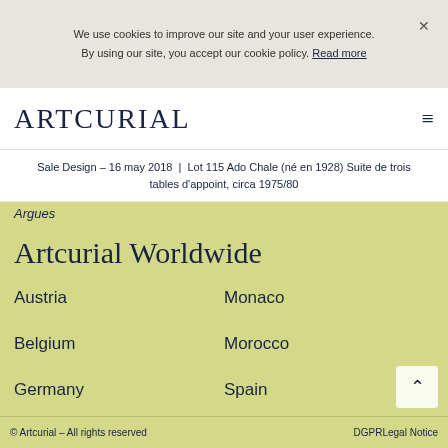We use cookies to improve our site and your user experience. By using our site, you accept our cookie policy. Read more
ARTCURIAL
Sale Design – 16 may 2018   Lot 115 Ado Chale (né en 1928) Suite de trois tables d'appoint, circa 1975/80
Argues
Artcurial Worldwide
Austria
Monaco
Belgium
Morocco
Germany
Spain
Italy
© Artcurial – All rights reserved     DGPRLegal Notice